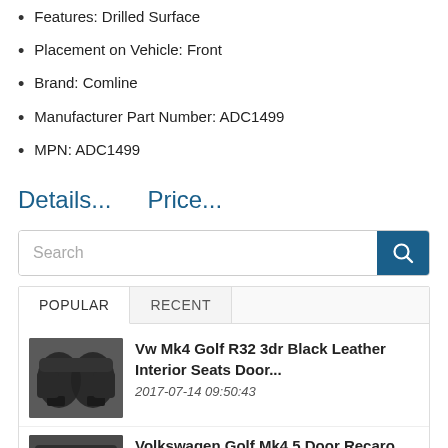Features: Drilled Surface
Placement on Vehicle: Front
Brand: Comline
Manufacturer Part Number: ADC1499
MPN: ADC1499
Details...   Price...
Search
POPULAR   RECENT
Vw Mk4 Golf R32 3dr Black Leather Interior Seats Door...
2017-07-14 09:50:43
Volkswagen Golf Mk4 5 Door Recaro Black Leather Interior...